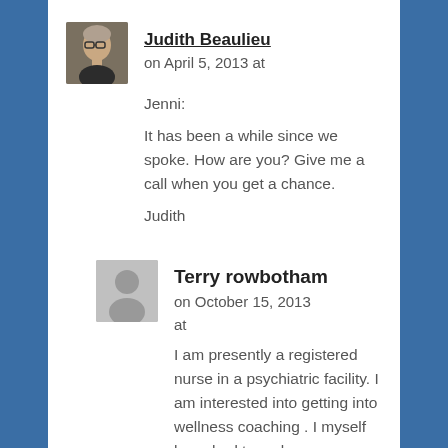Judith Beaulieu on April 5, 2013 at
Jenni:

It has been a while since we spoke. How are you? Give me a call when you get a chance.

Judith
Terry rowbotham on October 15, 2013 at
I am presently a registered nurse in a psychiatric facility. I am interested into getting into wellness coaching . I myself have had to make enormous health changes so I feel I am qualified in helping others do the same.